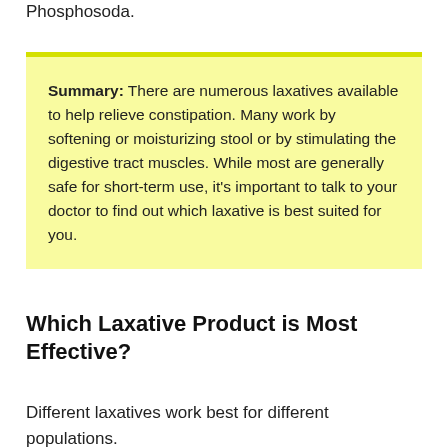Phosphosoda.
Summary: There are numerous laxatives available to help relieve constipation. Many work by softening or moisturizing stool or by stimulating the digestive tract muscles. While most are generally safe for short-term use, it's important to talk to your doctor to find out which laxative is best suited for you.
Which Laxative Product is Most Effective?
Different laxatives work best for different populations.